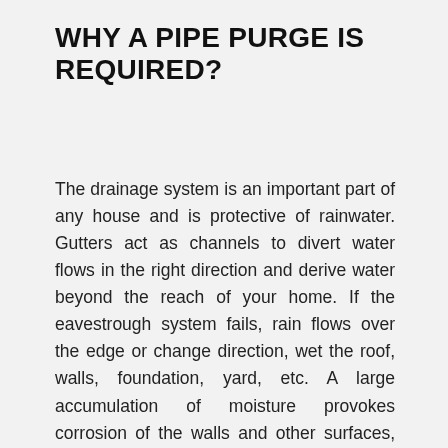WHY A PIPE PURGE IS REQUIRED?
The drainage system is an important part of any house and is protective of rainwater. Gutters act as channels to divert water flows in the right direction and derive water beyond the reach of your home. If the eavestrough system fails, rain flows over the edge or change direction, wet the roof, walls, foundation, yard, etc. A large accumulation of moisture provokes corrosion of the walls and other surfaces, which leads to the destruction of the entire structure. Often, due to a long malfunction of downspouts, cracks appear in the walls of the house, which are strengthened by mold, as a result of which a foundation shift occurs.